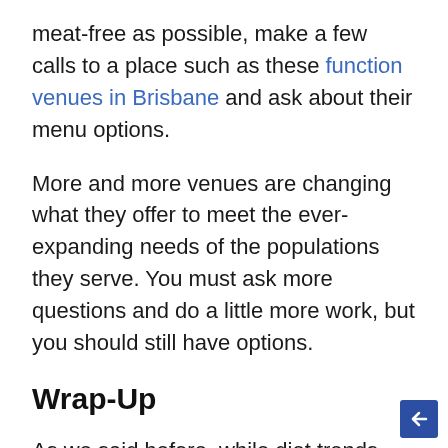meat-free as possible, make a few calls to a place such as these function venues in Brisbane and ask about their menu options.
More and more venues are changing what they offer to meet the ever-expanding needs of the populations they serve. You must ask more questions and do a little more work, but you should still have options.
Wrap-Up
As we said before, while diet trends come and go, there can be a few nuggets of truth within them that you can incorporate into your own diet to keep eating sensibly and living healthy.
You just have to take time to do the research and find them! Happy eating!